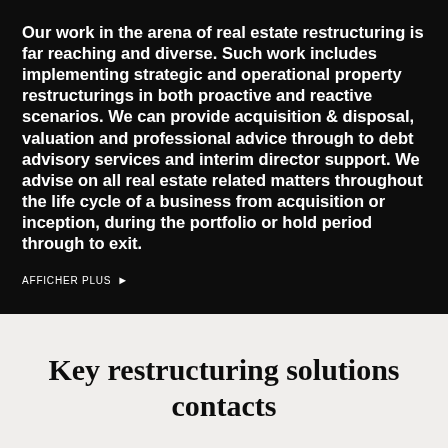Our work in the arena of real estate restructuring is far reaching and diverse. Such work includes implementing strategic and operational property restructurings in both proactive and reactive scenarios. We can provide acquisition & disposal, valuation and professional advice through to debt advisory services and interim director support. We advise on all real estate related matters throughout the life cycle of a business from acquisition or inception, during the portfolio or hold period through to exit.
AFFICHER PLUS ▶
Key restructuring solutions contacts